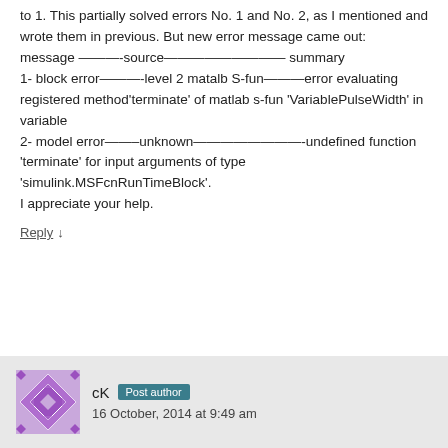to 1. This partially solved errors No. 1 and No. 2, as I mentioned and wrote them in previous. But new error message came out: message ———-source————————— summary 1- block error———-level 2 matalb S-fun———error evaluating registered method'terminate' of matlab s-fun 'VariablePulseWidth' in variable 2- model error——–unknown————————-undefined function 'terminate' for input arguments of type 'simulink.MSFcnRunTimeBlock'. I appreciate your help.
Reply ↓
cK Post author
16 October, 2014 at 9:49 am